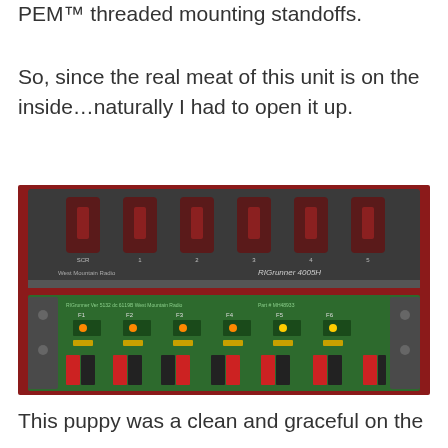PEM™ threaded mounting standoffs.
So, since the real meat of this unit is on the inside…naturally I had to open it up.
[Figure (photo): Photo showing the RIGrunner 4005H power distribution unit. Top image shows the closed dark grey enclosure with six red-handled circuit breakers labeled SCR, 1, 2, 3, 4, 5 and branding 'West Mountain Radio' and 'RIGrunner 4005H'. Bottom image shows the interior green circuit board with Anderson Powerpole connectors (red and black) and fuse/circuit components visible.]
This puppy was a clean and graceful on the